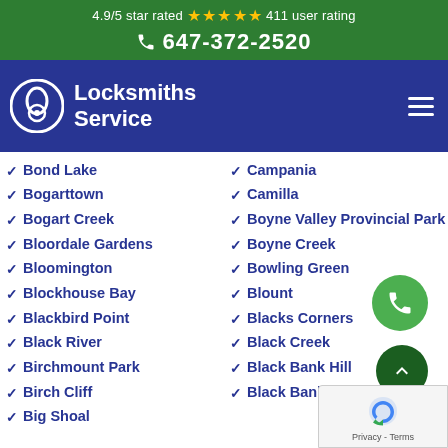4.9/5 star rated ★★★★★ 411 user rating
☎ 647-372-2520
[Figure (logo): Locksmiths Service logo with padlock icon and hamburger menu on dark blue nav bar]
Bond Lake
Campania
Bogarttown
Camilla
Bogart Creek
Boyne Valley Provincial Park
Bloordale Gardens
Boyne Creek
Bloomington
Bowling Green
Blockhouse Bay
Blount
Blackbird Point
Blacks Corners
Black River
Black Creek
Birchmount Park
Black Bank Hill
Birch Cliff
Black Bank
Big Shoal